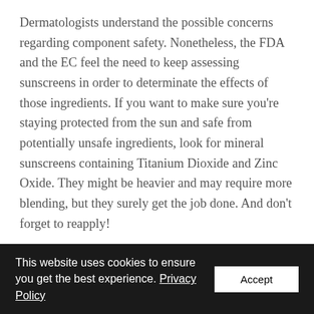Dermatologists understand the possible concerns regarding component safety. Nonetheless, the FDA and the EC feel the need to keep assessing sunscreens in order to determinate the effects of those ingredients. If you want to make sure you're staying protected from the sun and safe from potentially unsafe ingredients, look for mineral sunscreens containing Titanium Dioxide and Zinc Oxide. They might be heavier and may require more blending, but they surely get the job done. And don't forget to reapply!
This website uses cookies to ensure you get the best experience. Privacy Policy  Accept